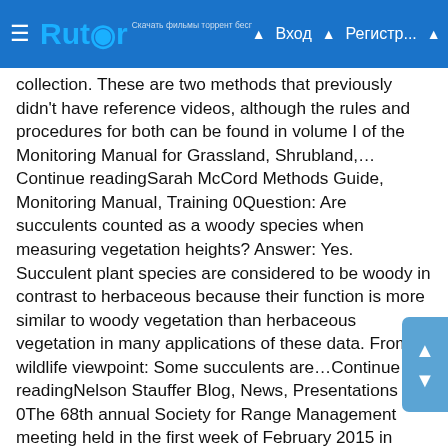Rutor — Вход  Регистр...
collection. These are two methods that previously didn't have reference videos, although the rules and procedures for both can be found in volume I of the Monitoring Manual for Grassland, Shrubland,…Continue readingSarah McCord Methods Guide, Monitoring Manual, Training 0Question: Are succulents counted as a woody species when measuring vegetation heights? Answer: Yes. Succulent plant species are considered to be woody in contrast to herbaceous because their function is more similar to woody vegetation than herbaceous vegetation in many applications of these data. From a wildlife viewpoint: Some succulents are…Continue readingNelson Stauffer Blog, News, Presentations 0The 68th annual Society for Range Management meeting held in the first week of February 2015 in Sacramento, California was a success for the Bureau of Land Management's Assessment, Inventory, and Monitoring (AIM) strategy. Staff from the BLM's National Operations Center and the USDA-ARS Jornada hosted a day-long symposium to…Continue readingJason Karl Blog, Sample Design sample design, sampling 0What is an Inference Space?